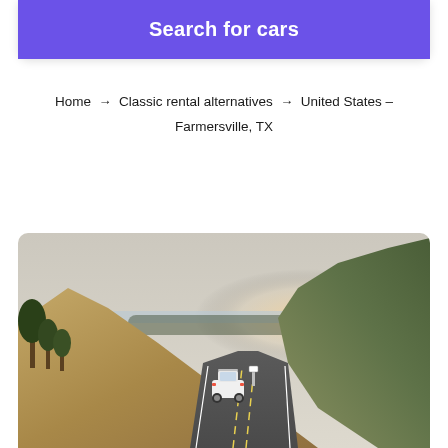Search for cars
Home → Classic rental alternatives → United States – Farmersville, TX
[Figure (photo): Aerial view of a winding road through golden hills with a white SUV driving, trees on the left, and a misty coastal view in the background]